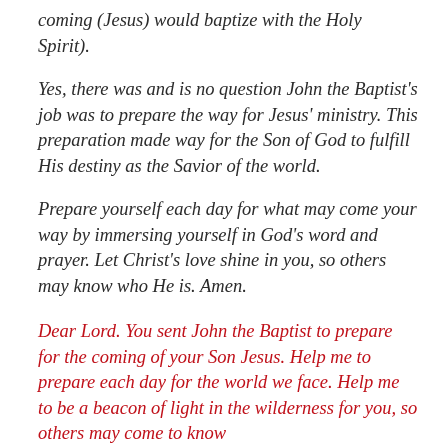coming (Jesus) would baptize with the Holy Spirit).
Yes, there was and is no question John the Baptist's job was to prepare the way for Jesus' ministry. This preparation made way for the Son of God to fulfill His destiny as the Savior of the world.
Prepare yourself each day for what may come your way by immersing yourself in God's word and prayer. Let Christ's love shine in you, so others may know who He is. Amen.
Dear Lord. You sent John the Baptist to prepare for the coming of your Son Jesus. Help me to prepare each day for the world we face. Help me to be a beacon of light in the wilderness for you, so others may come to know